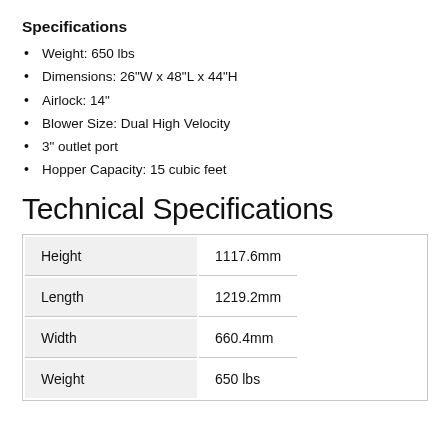Specifications
Weight: 650 lbs
Dimensions: 26"W x 48"L x 44"H
Airlock: 14"
Blower Size: Dual High Velocity
3" outlet port
Hopper Capacity: 15 cubic feet
Technical Specifications
| Height | 1117.6mm |
| Length | 1219.2mm |
| Width | 660.4mm |
| Weight | 650 lbs |